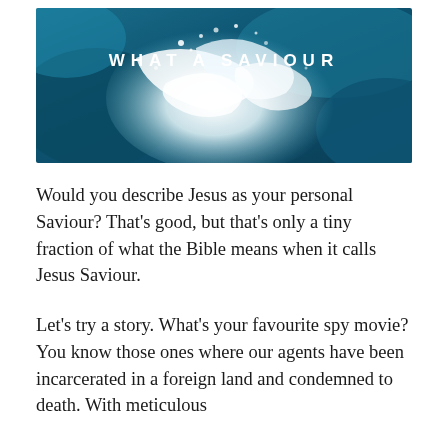[Figure (photo): Aerial view of crashing ocean waves with teal and white foam, with the title 'WHAT A SAVIOUR' overlaid in white uppercase letters]
Would you describe Jesus as your personal Saviour? That's good, but that's only a tiny fraction of what the Bible means when it calls Jesus Saviour.
Let's try a story. What's your favourite spy movie? You know those ones where our agents have been incarcerated in a foreign land and condemned to death. With meticulous